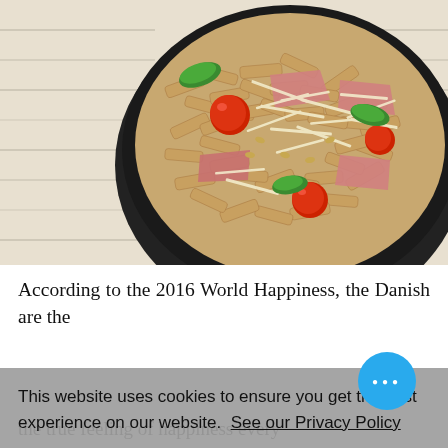[Figure (photo): A black bowl of penne pasta with cherry tomatoes, sliced meat, shredded parmesan cheese, and fresh basil leaves on a white wooden surface.]
According to the 2016 World Happiness, the Danish are the
This website uses cookies to ensure you get the best experience on our website.  See our Privacy Policy
OK
the true feeling of happiness every